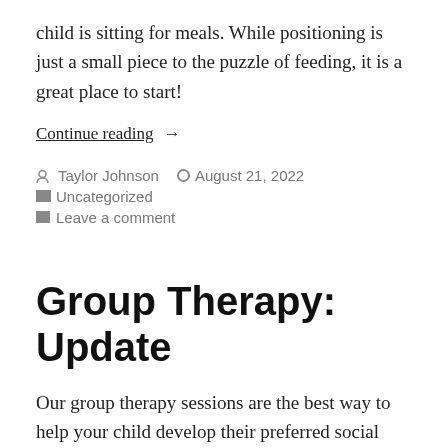child is sitting for meals. While positioning is just a small piece to the puzzle of feeding, it is a great place to start!
Continue reading →
Taylor Johnson  August 21, 2022  Uncategorized  Leave a comment
Group Therapy: Update
Our group therapy sessions are the best way to help your child develop their preferred social communication, while further building on their